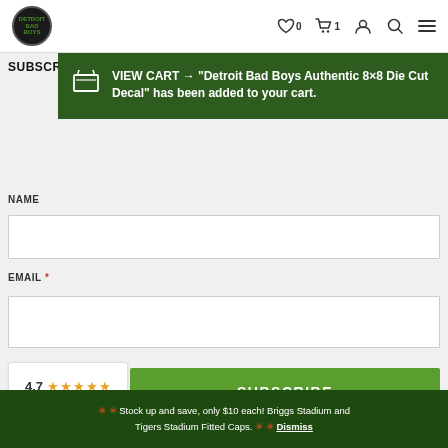Detroit Bad Boys store header with logo, wishlist (0), cart (1), account, search, and menu icons
SUBSCRIBE
VIEW CART → "Detroit Bad Boys Authentic 8×8 Die Cut Decal" has been added to your cart.
NAME
EMAIL *
SUBSCRIBE
[Figure (other): Google rating card showing 4.7 stars with five orange stars and Google logo]
✳ ✳ Stock up and save, only $10 each! Briggs Stadium and Tigers Stadium Fitted Caps. ✳ ✳ Dismiss